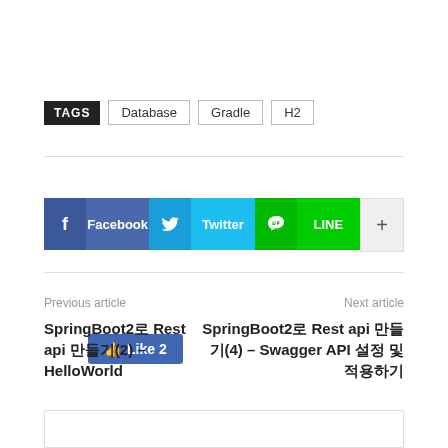TAGS  Database  Gradle  H2
[Figure (infographic): Social sharing buttons: Like 2 (Facebook like button), Facebook share button, Twitter share button, LINE share button, and a + more button]
Previous article
SpringBoot2로 Rest api 만들기(2) – HelloWorld
Next article
SpringBoot2로 Rest api 만들기(4) – Swagger API 설정 및 적용하기